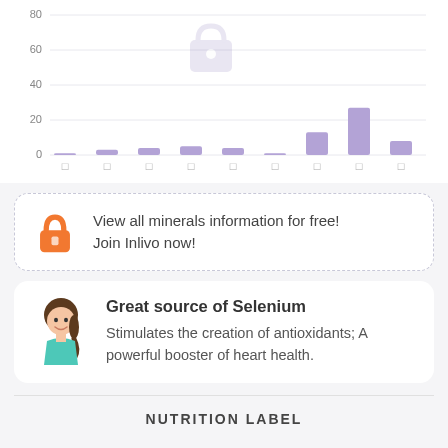[Figure (bar-chart): Minerals bar chart (partial, locked)]
View all minerals information for free! Join Inlivo now!
Great source of Selenium
Stimulates the creation of antioxidants; A powerful booster of heart health.
NUTRITION LABEL